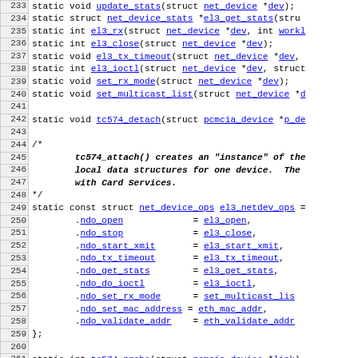Source code listing lines 233-262, C kernel driver code for tc574/el3 network device
233: static void update_stats(struct net_device *dev);
234: static struct net_device_stats *el3_get_stats(stru...
235: static int el3_rx(struct net_device *dev, int workl...
236: static int el3_close(struct net_device *dev);
237: static void el3_tx_timeout(struct net_device *dev,
238: static int el3_ioctl(struct net_device *dev, struct
239: static void set_rx_mode(struct net_device *dev);
240: static void set_multicast_list(struct net_device *d...
241: (blank)
242: static void tc574_detach(struct pcmcia_device *p_de...
243: (blank)
244: /*
245:     tc574_attach() creates an "instance" of the
246:     local data structures for one device.  The
247:     with Card Services.
248: */
249: static const struct net_device_ops el3_netdev_ops =
250:     .ndo_open           = el3_open,
251:     .ndo_stop           = el3_close,
252:     .ndo_start_xmit     = el3_start_xmit,
253:     .ndo_tx_timeout     = el3_tx_timeout,
254:     .ndo_get_stats      = el3_get_stats,
255:     .ndo_do_ioctl       = el3_ioctl,
256:     .ndo_set_rx_mode    = set_multicast_lis...
257:     .ndo_set_mac_address= eth_mac_addr,
258:     .ndo_validate_addr  = eth_validate_addr...
259: };
260: (blank)
261: static int tc574_probe(struct pcmcia_device *link)
262: {